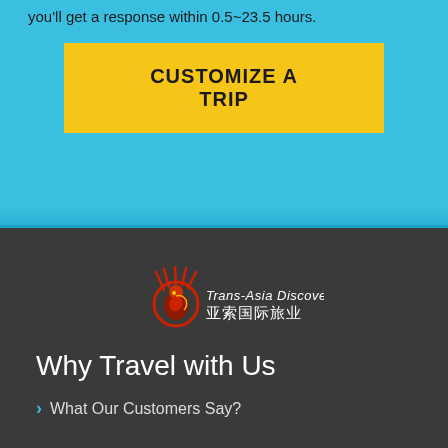you'll get a response within 0.5~23.5 hours.
CUSTOMIZE A TRIP
[Figure (logo): Trans-Asia Discovery logo with a red circle bird emblem and Chinese characters 亚索国际旅业]
Why Travel with Us
What Our Customers Say?